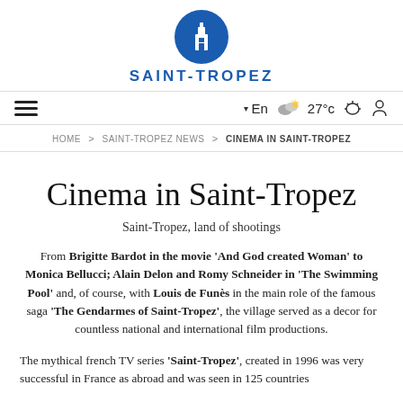[Figure (logo): Saint-Tropez official logo: blue circular emblem with a tower/building icon and text 'SAINT-TROPEZ' in bold blue capitals below]
≡  ▾ En  ☁ 27°c  👤  🔍
HOME > SAINT-TROPEZ NEWS > CINEMA IN SAINT-TROPEZ
Cinema in Saint-Tropez
Saint-Tropez, land of shootings
From Brigitte Bardot in the movie 'And God created Woman' to Monica Bellucci; Alain Delon and Romy Schneider in 'The Swimming Pool' and, of course, with Louis de Funès in the main role of the famous saga 'The Gendarmes of Saint-Tropez', the village served as a decor for countless national and international film productions.
The mythical french TV series 'Saint-Tropez', created in 1996 was very successful in France as abroad and was seen in 125 countries